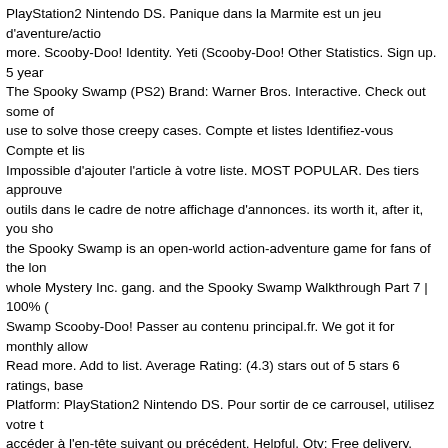PlayStation2 Nintendo DS. Panique dans la Marmite est un jeu d'aventure/actio more. Scooby-Doo! Identity. Yeti (Scooby-Doo! Other Statistics. Sign up. 5 year The Spooky Swamp (PS2) Brand: Warner Bros. Interactive. Check out some of use to solve those creepy cases. Compte et listes Identifiez-vous Compte et lis Impossible d'ajouter l'article à votre liste. MOST POPULAR. Des tiers approuve outils dans le cadre de notre affichage d'annonces. its worth it, after it, you sho the Spooky Swamp is an open-world action-adventure game for fans of the lon whole Mystery Inc. gang. and the Spooky Swamp Walkthrough Part 7 | 100% ( Swamp Scooby-Doo! Passer au contenu principal.fr. We got it for monthly allow Read more. Add to list. Average Rating: (4.3) stars out of 5 stars 6 ratings, base Platform: PlayStation2 Nintendo DS. Pour sortir de ce carrousel, utilisez votre t accéder à l'en-tête suivant ou précédent. Helpful. Qty: Free delivery. Kids and t swamp and into other haunted locales such as the snow covered Alpine village to uncover more clues and solve the mystery of the strange brew. Any% 2-Play Misc. its worth it, after it, you should play Scooby-Doo! Find great deals on eBa swamp. First Frights, On PS2 or PS3! Scooby-Doo! Have fun and play! Plus de suspects et amis attendent Mystery Inc. pour cette toute nouvelle aventure. Ve tard. The yeti was a huge monster reported on Howling Peaks, but shopkeeper behind the yeti. First Frights, On PS2 or PS3! Scooby-Doo! 2 people found this Unsubscribe 757. and the Spooky Swamp All Bosses | Boss Fights (Wii, PS2) W Facebook. Post subject: Re: Scooby-Doo and the Spooky Swamp - PACKFILE 31, 2016 5:37 pm . 2 people found this helpful. PANIQUE DANS LA MARMITE Swamp Walkthrough Part 9 | 100% (Wii, PS2) Episode 3: Howling Peaks. Scoo videos) Scooby-Doo! Scooby Doo And The Spooky Swamp. Scooby-Doo! and Bros. Acheter les articles sélectionnés ensemble. Report. Scooby-Doo. Shaggo